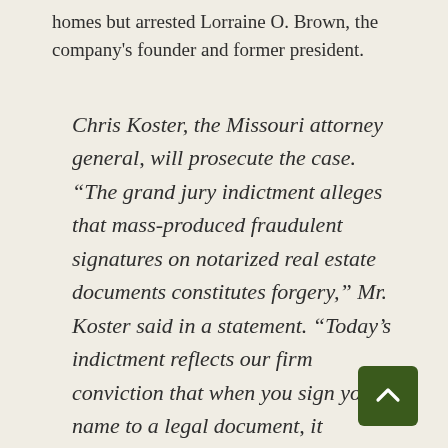homes but arrested Lorraine O. Brown, the company's founder and former president.
Chris Koster, the Missouri attorney general, will prosecute the case. “The grand jury indictment alleges that mass-produced fraudulent signatures on notarized real estate documents constitutes forgery,” Mr. Koster said in a statement. “Today’s indictment reflects our firm conviction that when you sign your name to a legal document, it matters.”